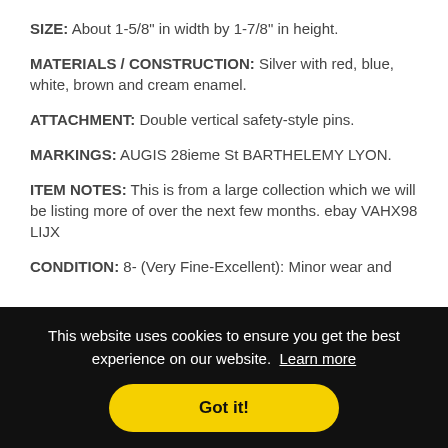SIZE: About 1-5/8" in width by 1-7/8" in height.
MATERIALS / CONSTRUCTION: Silver with red, blue, white, brown and cream enamel.
ATTACHMENT: Double vertical safety-style pins.
MARKINGS: AUGIS 28ieme St BARTHELEMY LYON.
ITEM NOTES: This is from a large collection which we will be listing more of over the next few months. ebay VAHX98 LIJX
CONDITION: 8- (Very Fine-Excellent): Minor wear and
This website uses cookies to ensure you get the best experience on our website. Learn more
Got it!